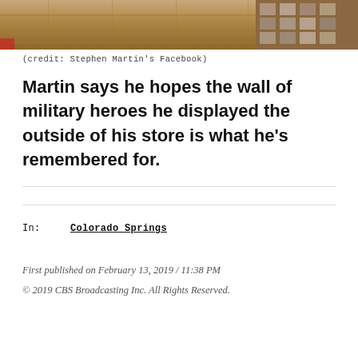[Figure (photo): Interior photo of a store with wooden floor and wall covered with photos/images in the background, partial view]
(credit: Stephen Martin's Facebook)
Martin says he hopes the wall of military heroes he displayed the outside of his store is what he's remembered for.
In: Colorado Springs
First published on February 13, 2019 / 11:38 PM
© 2019 CBS Broadcasting Inc. All Rights Reserved.